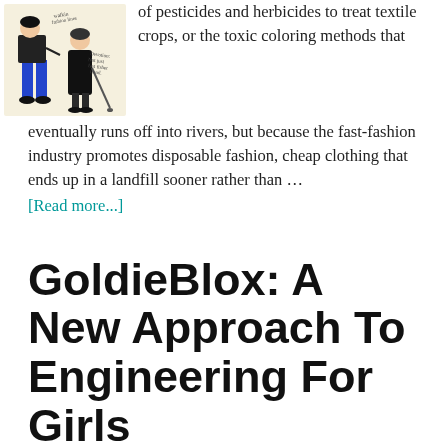[Figure (illustration): Illustration of two fashion figures, one wearing blue pants and one in a black dress with a cane, with handwritten-style text annotations]
of pesticides and herbicides to treat textile crops, or the toxic coloring methods that eventually runs off into rivers, but because the fast-fashion industry promotes disposable fashion, cheap clothing that ends up in a landfill sooner rather than …
[Read more...]
GoldieBlox: A New Approach To Engineering For Girls
by Leslie Newton